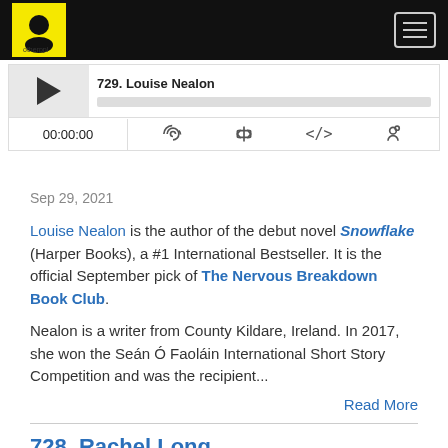otherppl podcast logo and navigation header
729. Louise Nealon
00:00:00
Sep 29, 2021
Louise Nealon is the author of the debut novel Snowflake (Harper Books), a #1 International Bestseller. It is the official September pick of The Nervous Breakdown Book Club.
Nealon is a writer from County Kildare, Ireland. In 2017, she won the Seán Ó Faoláin International Short Story Competition and was the recipient...
Read More
728. Rachel Long
OTHERPPL WITH BRAD LISTI